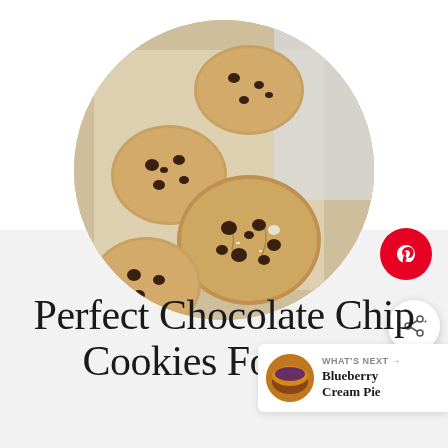[Figure (photo): Circular cropped photo of chocolate chip cookies on parchment paper on a baking sheet, viewed from above]
Perfect Chocolate Chip Cookies For Two
[Figure (illustration): What's Next panel showing a small circular thumbnail of Blueberry Cream Pie with label text 'WHAT'S NEXT' and arrow, and title 'Blueberry Cream Pie']